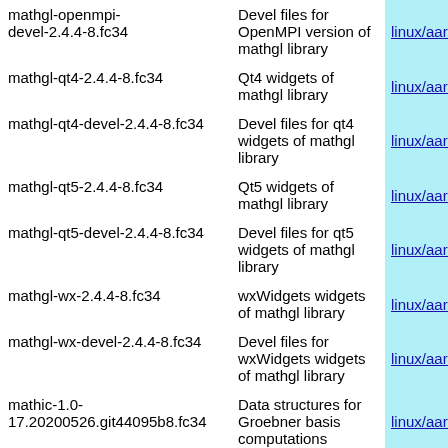| Package | Description | Arch |
| --- | --- | --- |
| mathgl-openmpi-devel-2.4.4-8.fc34 | Devel files for OpenMPI version of mathgl library | linux/aarch64 |
| mathgl-qt4-2.4.4-8.fc34 | Qt4 widgets of mathgl library | linux/aarch64 |
| mathgl-qt4-devel-2.4.4-8.fc34 | Devel files for qt4 widgets of mathgl library | linux/aarch64 |
| mathgl-qt5-2.4.4-8.fc34 | Qt5 widgets of mathgl library | linux/aarch64 |
| mathgl-qt5-devel-2.4.4-8.fc34 | Devel files for qt5 widgets of mathgl library | linux/aarch64 |
| mathgl-wx-2.4.4-8.fc34 | wxWidgets widgets of mathgl library | linux/aarch64 |
| mathgl-wx-devel-2.4.4-8.fc34 | Devel files for wxWidgets widgets of mathgl library | linux/aarch64 |
| mathic-1.0-17.20200526.git44095b8.fc34 | Data structures for Groebner basis computations | linux/aarch64 |
| mathic-devel-1.0-17.20200526.git44095b8.fc34 | Development files for mathic | linux/aarch64 |